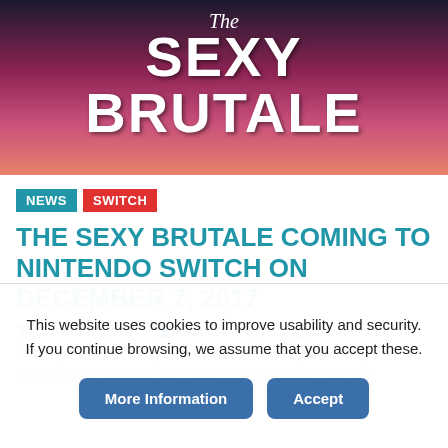[Figure (illustration): Game cover art for The Sexy Brutale with colorful illustrated characters and the game title in large white text]
NEWS | SWITCH
THE SEXY BRUTALE COMING TO NINTENDO SWITCH ON DECEMBER 7, 2017
December 1, 2017   Handheld Players   0 Comments
2017, Announcement, Cavalier Game Studios, December, Puzzle Game, Release Date, Switch, Tequila Works, The Sexy
This website uses cookies to improve usability and security. If you continue browsing, we assume that you accept these.